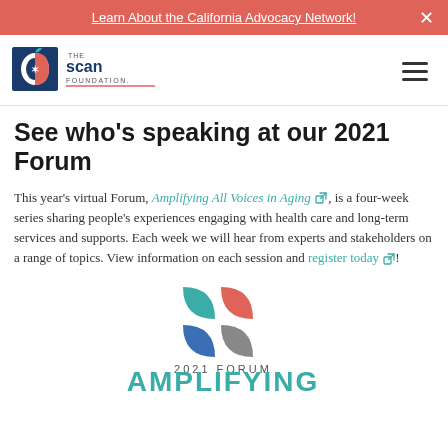Learn About the California Advocacy Network!
[Figure (logo): The SCAN Foundation logo — apple icon with 'THE scan FOUNDATION.' text]
See who's speaking at our 2021 Forum
This year's virtual Forum, Amplifying All Voices in Aging, is a four-week series sharing people's experiences engaging with health care and long-term services and supports. Each week we will hear from experts and stakeholders on a range of topics. View information on each session and register today!
[Figure (logo): 2021 Forum logo with four colored shapes (teal, red/coral, blue, gray) arranged in a 2x2 grid, text '2021 FORUM' and 'AMPLIFYING' below]